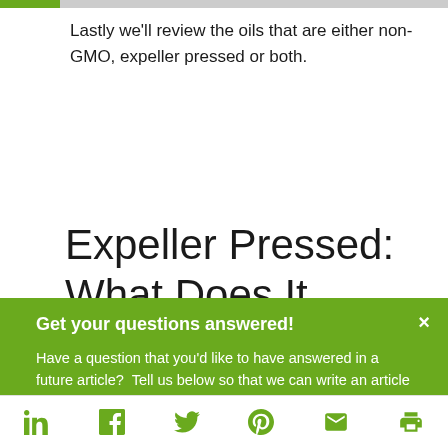Lastly we'll review the oils that are either non-GMO, expeller pressed or both.
Expeller Pressed: What Does It Mean?
Get your questions answered!
Have a question that you'd like to have answered in a future article?  Tell us below so that we can write an article to address exactly what you want to learn.
[Figure (other): Social media share bar with LinkedIn, Facebook, Twitter, Pinterest, email, and print icons in green]